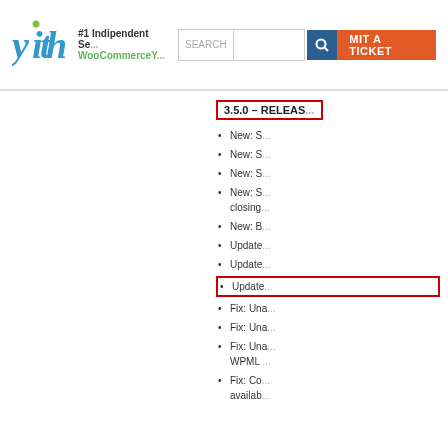[Figure (logo): YITH logo - colorful letters with green dot]
#1 Independent Se... WooCommerceY... SEARCH [search box] [search icon] MIT A TICKET
3.5.0 - RELEAS...
New: S...
New: S...
New: S...
New: S... closing...
New: B...
Update...
Update...
Update... (highlighted)
Fix: Una...
Fix: Una...
Fix: Una... WPML ...
Fix: Co... availab...